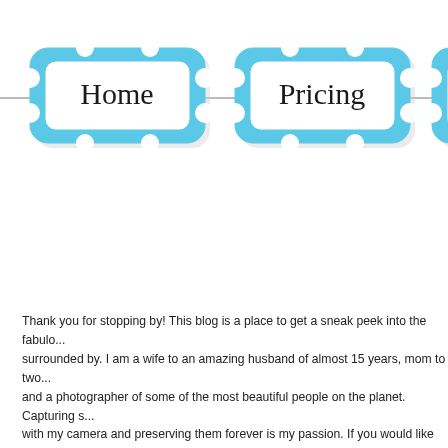[Figure (infographic): Navigation bar with three decorative blue scalloped/ornate frame buttons labeled 'Home', 'Pricing', and 'Websit' (partially cut off), connected by horizontal lines, drawn in a hand-drawn style with cursive/script text inside each frame.]
Thank you for stopping by! This blog is a place to get a sneak peek into the fabulo... surrounded by. I am a wife to an amazing husband of almost 15 years, mom to two... and a photographer of some of the most beautiful people on the planet. Capturing s... with my camera and preserving them forever is my passion. If you would like for m... special moments for you and your family, contact me today! I look forward to getti... and your fabulous world.